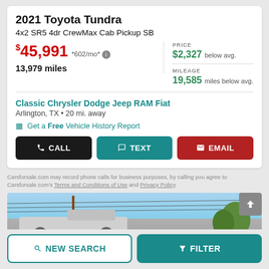2021 Toyota Tundra
4x2 SR5 4dr CrewMax Cab Pickup SB
$45,991 *602/mo* — PRICE $2,327 below avg. — 13,979 miles — MILEAGE 19,585 miles below avg.
Classic Chrysler Dodge Jeep RAM Fiat
Arlington, TX • 20 mi. away
Get a Free Vehicle History Report
CALL  TEXT  EMAIL
Carsforsale.com may record phone calls for business purposes, by calling you agree to Carsforsale.com's Terms and Conditions of Use and Privacy Policy.
[Figure (photo): Partial view of a white Toyota Tundra pickup truck against a blue sky with power lines visible]
NEW SEARCH   FILTER